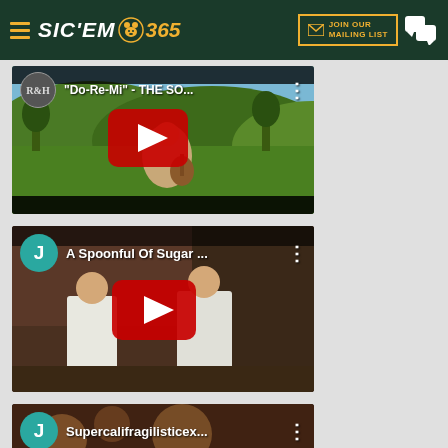SIC'EM 365 — JOIN OUR MAILING LIST
[Figure (screenshot): YouTube video thumbnail: "Do-Re-Mi" - THE SO... with play button overlay, woman playing guitar in outdoor green setting]
[Figure (screenshot): YouTube video thumbnail: A Spoonful Of Sugar ... with play button overlay, two children in white clothing]
[Figure (screenshot): YouTube video thumbnail: Supercalifragilisticex... with play button overlay, partially visible]